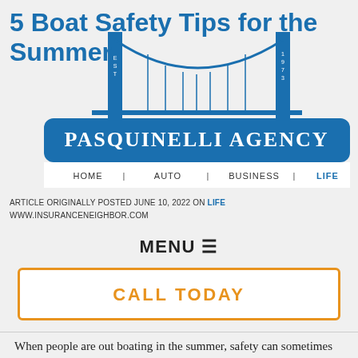5 Boat Safety Tips for the Summer
[Figure (logo): Pasquinelli Agency logo with a suspension bridge graphic. Blue rounded rectangle with 'PASQUINELLI AGENCY' and navigation links: HOME | AUTO | BUSINESS | LIFE]
ARTICLE ORIGINALLY POSTED JUNE 10, 2022 ON LIFE
WWW.INSURANCENEIGHBOR.COM
MENU ≡
CALL TODAY
When people are out boating in the summer, safety can sometimes take a backseat to pleasure. This could be a tragic